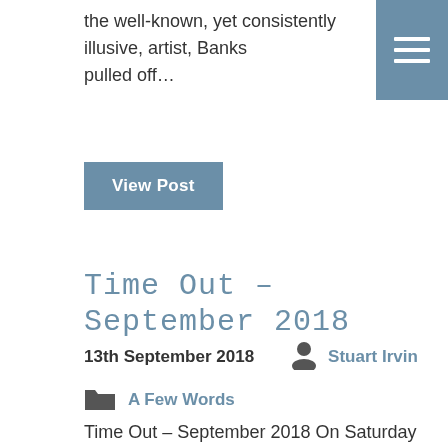the well-known, yet consistently illusive, artist, Banks pulled off…
View Post
Time Out – September 2018
13th September 2018   Stuart Irvin
A Few Words
Time Out – September 2018 On Saturday the 8th of September the church elders and I took some time out together. It was great. Here you can see our 'Team Charlotte' and some of the excellent shooting that…